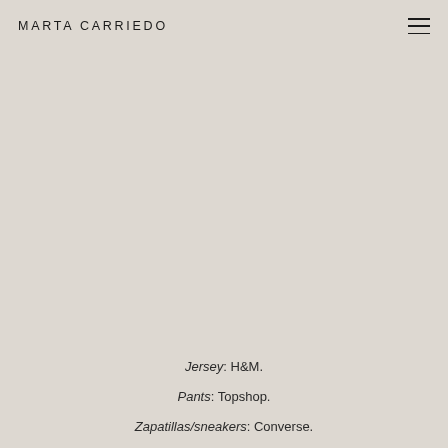MARTA CARRIEDO
[Figure (photo): Large background photo area with a muted beige/taupe tone — appears to be a fashion/lifestyle photograph, largely obscured or blended with the page background]
Jersey: H&M.
Pants: Topshop.
Zapatillas/sneakers: Converse.